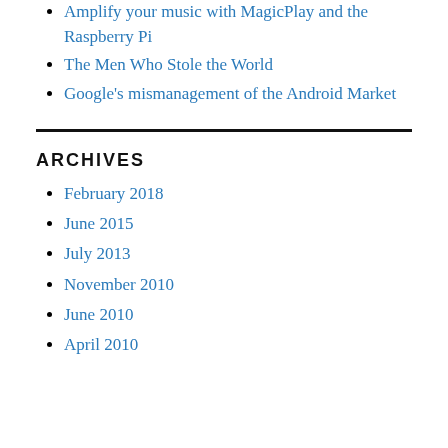Amplify your music with MagicPlay and the Raspberry Pi
The Men Who Stole the World
Google's mismanagement of the Android Market
ARCHIVES
February 2018
June 2015
July 2013
November 2010
June 2010
April 2010